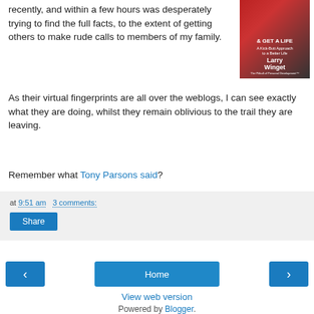recently, and within a few hours was desperately trying to find the full facts, to the extent of getting others to make rude calls to members of my family.
[Figure (illustration): Book cover: '& Get A Life' by Larry Winget - A Kick-Butt Approach to a Better Life]
As their virtual fingerprints are all over the weblogs, I can see exactly what they are doing, whilst they remain oblivious to the trail they are leaving.
Remember what Tony Parsons said?
at 9:51 am   3 comments:
Share
Home
View web version
Powered by Blogger.